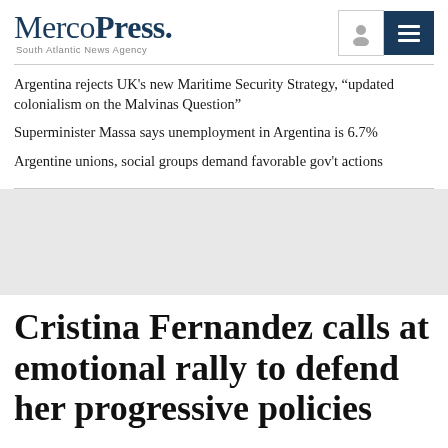[Figure (logo): MercoPress logo with tagline 'South Atlantic News Agency']
Argentina rejects UK's new Maritime Security Strategy, “updated colonialism on the Malvinas Question”
Superminister Massa says unemployment in Argentina is 6.7%
Argentine unions, social groups demand favorable gov't actions
[Figure (photo): Large image area (placeholder/blank) for the article about Cristina Fernandez]
Cristina Fernandez calls at emotional rally to defend her progressive policies